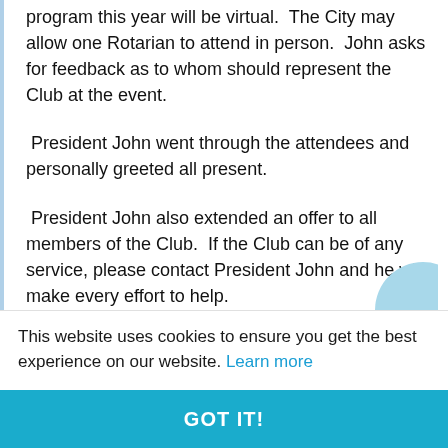program this year will be virtual.  The City may allow one Rotarian to attend in person.  John asks for feedback as to whom should represent the Club at the event.
President John went through the attendees and personally greeted all present.
President John also extended an offer to all members of the Club.  If the Club can be of any service, please contact President John and he will make every effort to help.
SPEAKERS COMMITTEE:
This website uses cookies to ensure you get the best experience on our website. Learn more
GOT IT!